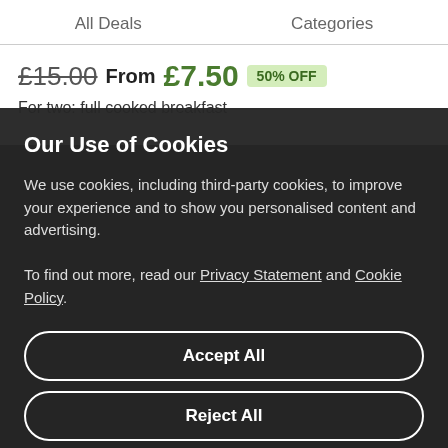All Deals    Categories
£15.00 From £7.50 50% OFF
For two: full cooked breakfast
Our Use of Cookies
We use cookies, including third-party cookies, to improve your experience and to show you personalised content and advertising.

To find out more, read our Privacy Statement and Cookie Policy.
Accept All
Reject All
My Options